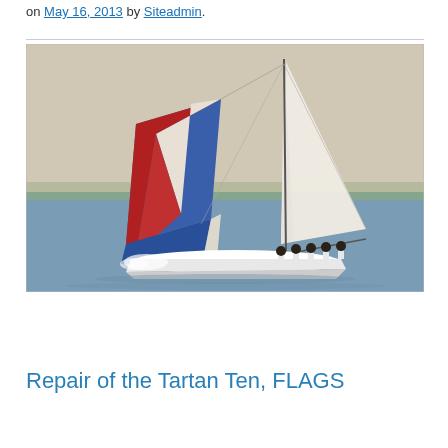on May 16, 2013 by Siteadmin.
[Figure (photo): A sailing yacht with a large white mainsail and a colorful red, white, and blue spinnaker sail, crewed by several people in white shirts, sailing on open water with a shoreline visible in the background.]
Repair of the Tartan Ten, FLAGS